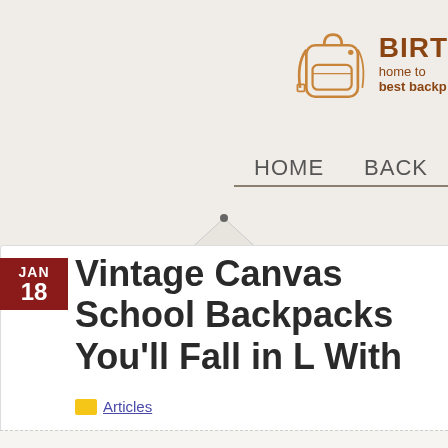[Figure (logo): Backpack logo with line-art backpack icon and site name BIRTH (partially visible), tagline 'home to best backp...']
HOME   BACK
Vintage Canvas School Backpacks You'll Fall in Love With
Articles